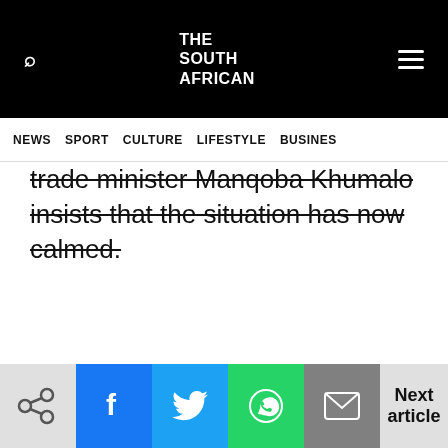THE SOUTH AFRICAN — NEWS | SPORT | CULTURE | LIFESTYLE | BUSINESS
trade minister Manqoba Khumalo insists that the situation has now calmed.
Next article